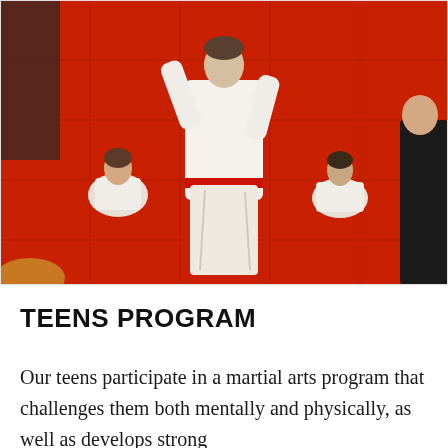[Figure (photo): A teenager in a white karate gi with a red belt performing a martial arts kata or movement on a red mat floor. Several other students in white uniforms sit on the red mat in the background watching. One person in black clothing is visible on the right edge.]
TEENS PROGRAM
Our teens participate in a martial arts program that challenges them both mentally and physically, as well as develops strong